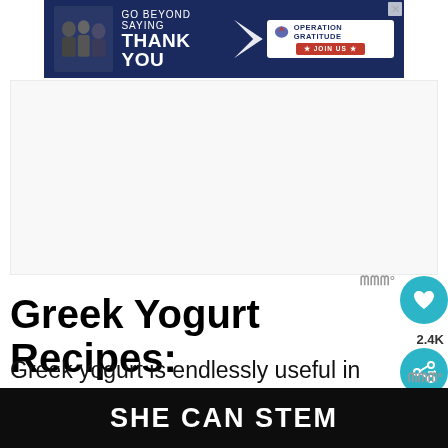[Figure (other): Advertisement banner: GO BEYOND SAYING THANK YOU — OPERATION GRATITUDE ★ JOIN US ★ on navy background with military personnel photo]
[Figure (other): Large white/grey advertisement whitespace block]
Greek Yogurt Recipes:
Greek yogurt is endlessly useful in the kitchen. Salad dressings, dips, sauces, and desserts are all enhanced nutritionally with greek yogurt. It holds fa...
[Figure (other): WHAT'S NEXT → Instant Pot Greek Yogur... widget with thumbnail]
[Figure (other): SHE CAN STEM advertisement banner on dark background]